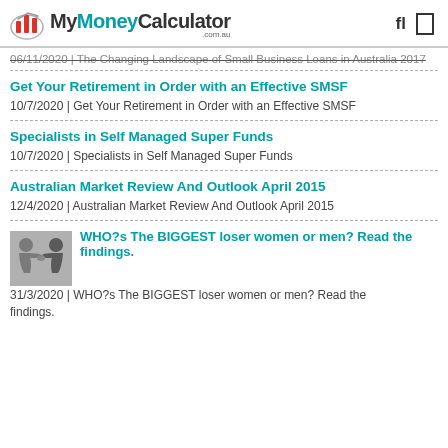MyMoneyCalculator .com.au
06/11/2020 | The Changing Landscape of Small Business Loans in Australia 2017
Get Your Retirement in Order with an Effective SMSF
10/7/2020 | Get Your Retirement in Order with an Effective SMSF
Specialists in Self Managed Super Funds
10/7/2020 | Specialists in Self Managed Super Funds
Australian Market Review And Outlook April 2015
12/4/2020 | Australian Market Review And Outlook April 2015
WHO?s The BIGGEST loser women or men? Read the findings.
31/3/2020 | WHO?s The BIGGEST loser women or men? Read the findings.
[Figure (photo): Two people arm wrestling, illustrating competition between women and men]